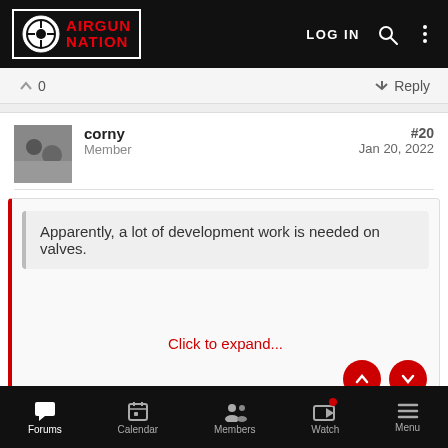AIRGUN NATION — LOG IN
0   Reply
corny
Member
#20
Jan 20, 2022
Apparently, a lot of development work is needed on valves.
Click to expand...
RAW/Theoben are old design that just work. And they will work
Forums   Calendar   Members   Watch   Menu